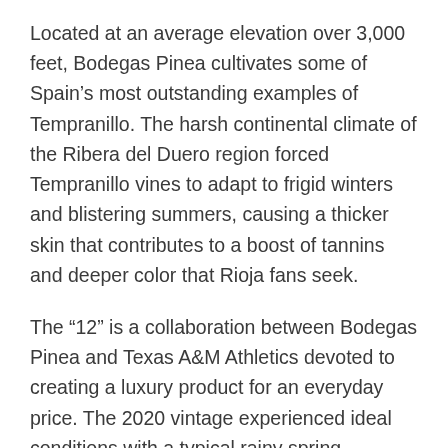Located at an average elevation over 3,000 feet, Bodegas Pinea cultivates some of Spain's most outstanding examples of Tempranillo. The harsh continental climate of the Ribera del Duero region forced Tempranillo vines to adapt to frigid winters and blistering summers, causing a thicker skin that contributes to a boost of tannins and deeper color that Rioja fans seek.
The “12” is a collaboration between Bodegas Pinea and Texas A&M Athletics devoted to creating a luxury product for an everyday price. The 2020 vintage experienced ideal conditions with a typical rainy spring, perfectly sunny summer days, and cool nights resulting in a perfect balance between flavors, acidity, and tannins that complement anything from pizza to a ribeye steak